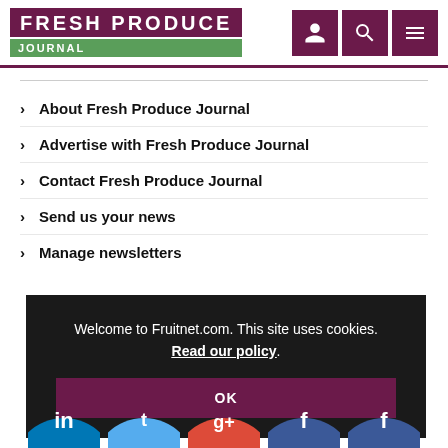FRESH PRODUCE JOURNAL
About Fresh Produce Journal
Advertise with Fresh Produce Journal
Contact Fresh Produce Journal
Send us your news
Manage newsletters
Welcome to Fruitnet.com. This site uses cookies. Read our policy.
[Figure (screenshot): Social media icons row at bottom: LinkedIn, Twitter, Google+, unknown, Facebook (partially visible circles)]